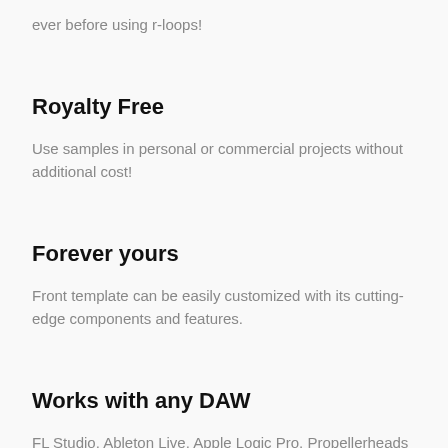ever before using r-loops!
Royalty Free
Use samples in personal or commercial projects without additional cost!
Forever yours
Front template can be easily customized with its cutting-edge components and features.
Works with any DAW
FL Studio, Ableton Live, Apple Logic Pro, Propellerheads Reason, Steinberg Cubase and many more!